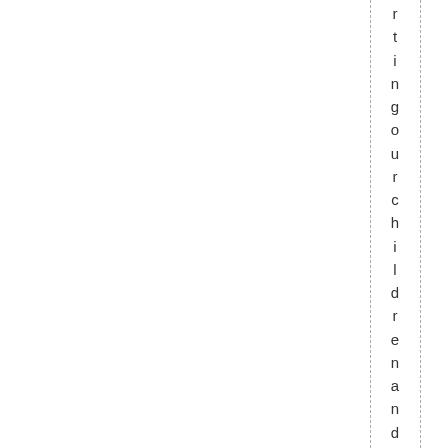r t i n g o u r c h i l d r e n a n d o u r g r a